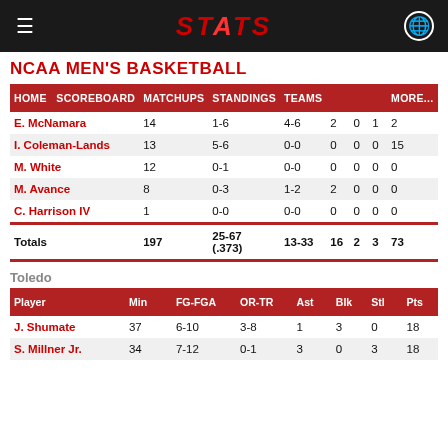STATS
NCAA MEN'S BASKETBALL
| HOME | SCOREBOARD | MATCHUPS | STANDINGS | TEAMS |  |  | MORE... |
| --- | --- | --- | --- | --- | --- | --- | --- |
| E. McNamara | 14 | 1-6 | 4-6 | 2 | 0 | 1 | 2 |
| I. Coleman-Lands | 13 | 5-6 | 0-0 | 0 | 0 | 0 | 15 |
| M. White | 12 | 0-1 | 0-0 | 0 | 0 | 0 | 0 |
| M. Avance | 8 | 0-3 | 1-2 | 2 | 0 | 0 | 0 |
| C. Harrison IV | 1 | 0-0 | 0-0 | 0 | 0 | 0 | 0 |
| Totals | 197 | 25-67 (.373) | 13-33 | 16 | 2 | 3 | 73 |
Toledo
| Player | Min | FG-FGA | OR-TR | Ast | Blk | Stl | Pts |
| --- | --- | --- | --- | --- | --- | --- | --- |
| J. Shumate | 37 | 6-10 | 3-8 | 1 | 3 | 0 | 18 |
| S. Millner Jr. | 34 | 7-12 | 0-1 | 3 | 0 | 3 | 18 |